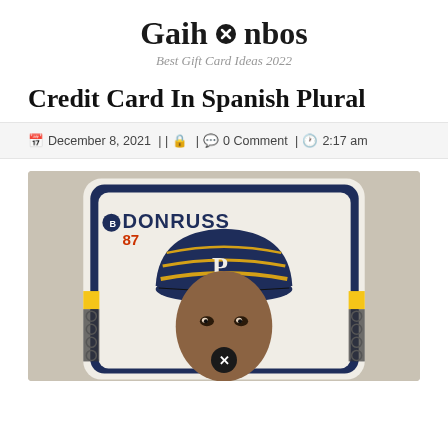Gaihanbos
Best Gift Card Ideas 2022
Credit Card In Spanish Plural
December 8, 2021 | | 🔒 | 💬 0 Comment | 🕐 2:17 am
[Figure (photo): A 1987 Donruss baseball card showing a Pittsburgh Pirates player wearing a navy blue and gold striped cap with the P logo. The card has the Donruss 87 logo in the upper left corner. A circular watermark/icon is overlaid at the bottom center of the image.]